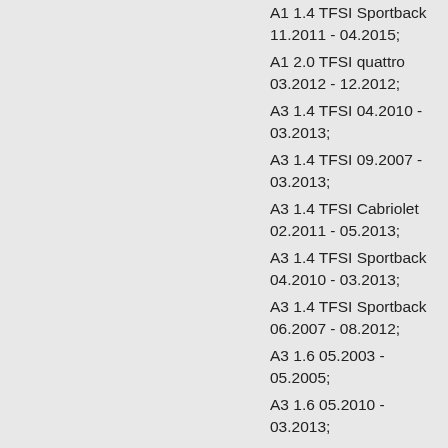A1 1.4 TFSI Sportback 11.2011 - 04.2015;
A1 2.0 TFSI quattro 03.2012 - 12.2012;
A3 1.4 TFSI 04.2010 - 03.2013;
A3 1.4 TFSI 09.2007 - 03.2013;
A3 1.4 TFSI Cabriolet 02.2011 - 05.2013;
A3 1.4 TFSI Sportback 04.2010 - 03.2013;
A3 1.4 TFSI Sportback 06.2007 - 08.2012;
A3 1.6 05.2003 - 05.2005;
A3 1.6 05.2010 - 03.2013;
A3 1.6 06.2005 - 08.2012;
A3 1.6 07.2008 - 03.2013;
A3 1.6 09.1996 - 06.2001;
A3 1.6 Cabriolet 09.2008 - 05.2010;
A3 1.6 FSI 01.2005 - 09.2007;
A3 1.6 FSI Sportback 01.2005 - 09.2007;
A3 1.6 Sportback 05.2010 - 03.2013;
A3 1.6 Sportback 06.2005 - 08.2012;
A3 1.6 Sportback 07.2008 - 03.2013;
A3 1.6 Sportback 09.2004 - 05.2005;
A3 1.8 T 05.2000 - 06.2003;